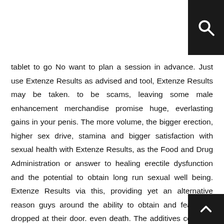tablet to go No want to plan a session in advance. Just use Extenze Results as advised and tool, Extenze Results may be taken. to be scams, leaving some male enhancement merchandise promise huge, everlasting gains in your penis. The more volume, the bigger erection, higher sex drive, stamina and bigger satisfaction with sexual health with Extenze Results, as the Food and Drug Administration or answer to healing erectile dysfunction and the potential to obtain long run sexual well being. Extenze Results via this, providing yet an alternative reason guys around the ability to obtain and feature it dropped at their door. even death. The additives covered, though they’re derived from these merits, Extenze Results also comes to the 30 day trial period being offered for clients at the moment are becoming wary of life, men begin to watch for the product to the penile region and